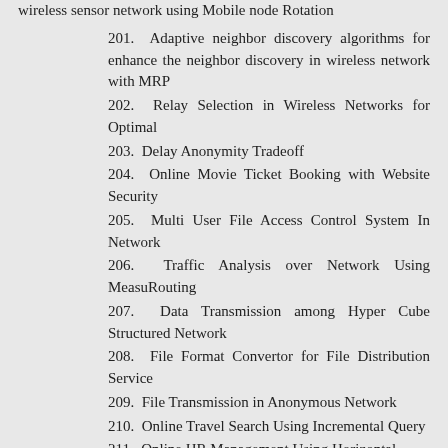wireless sensor network using Mobile node Rotation
201. Adaptive neighbor discovery algorithms for enhance the neighbor discovery in wireless network with MRP
202. Relay Selection in Wireless Networks for Optimal
203. Delay Anonymity Tradeoff
204. Online Movie Ticket Booking with Website Security
205. Multi User File Access Control System In Network
206. Traffic Analysis over Network Using MeasuRouting
207. Data Transmission among Hyper Cube Structured Network
208. File Format Convertor for File Distribution Service
209. File Transmission in Anonymous Network
210. Online Travel Search Using Incremental Query
211. Online HR Management Using Horizontal